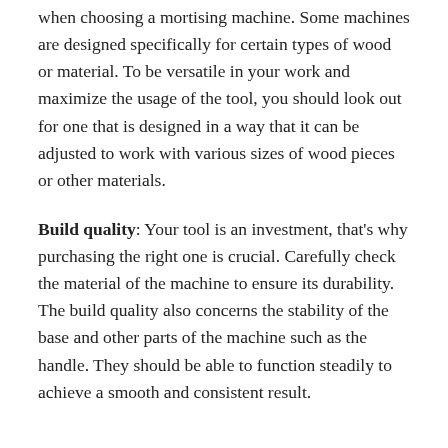when choosing a mortising machine. Some machines are designed specifically for certain types of wood or material. To be versatile in your work and maximize the usage of the tool, you should look out for one that is designed in a way that it can be adjusted to work with various sizes of wood pieces or other materials.
Build quality: Your tool is an investment, that's why purchasing the right one is crucial. Carefully check the material of the machine to ensure its durability. The build quality also concerns the stability of the base and other parts of the machine such as the handle. They should be able to function steadily to achieve a smooth and consistent result.